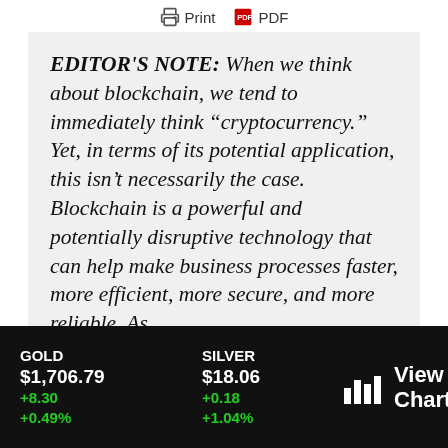Print   PDF
EDITOR'S NOTE: When we think about blockchain, we tend to immediately think “cryptocurrency.” Yet, in terms of its potential application, this isn’t necessarily the case. Blockchain is a powerful and potentially disruptive technology that can help make business processes faster, more efficient, more secure, and more reliable. As
GOLD
$1,706.79
+8.30
+0.49%

SILVER
$18.06
+0.18
+1.04%

View Chart